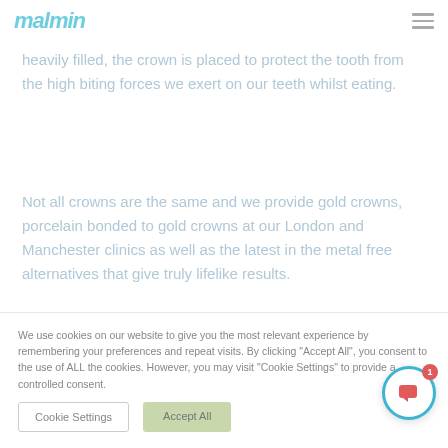malmin
heavily filled, the crown is placed to protect the tooth from the high biting forces we exert on our teeth whilst eating.
Not all crowns are the same and we provide gold crowns, porcelain bonded to gold crowns at our London and Manchester clinics as well as the latest in the metal free alternatives that give truly lifelike results.
We use cookies on our website to give you the most relevant experience by remembering your preferences and repeat visits. By clicking "Accept All", you consent to the use of ALL the cookies. However, you may visit "Cookie Settings" to provide a controlled consent.